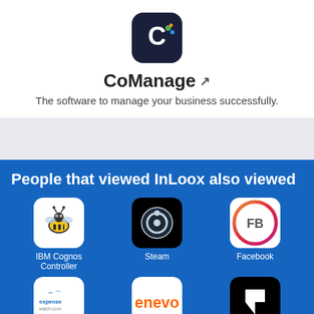[Figure (logo): CoManage app logo - dark navy circle with white C letter and colorful dots]
CoManage ↗
The software to manage your business successfully.
People that viewed InLoox also viewed
[Figure (logo): IBM Cognos Controller logo - bee icon]
IBM Cognos Controller
[Figure (logo): Steam logo - black circle with steam gear icon]
Steam
[Figure (logo): Facebook logo - FB letters in circle with rainbow gradient border]
Facebook
[Figure (logo): ExpenseWatch logo]
ExpenseWatch
[Figure (logo): Enevo logo - orange text on white]
Enevo
[Figure (logo): Framer logo - black background with white arrow icon]
Framer